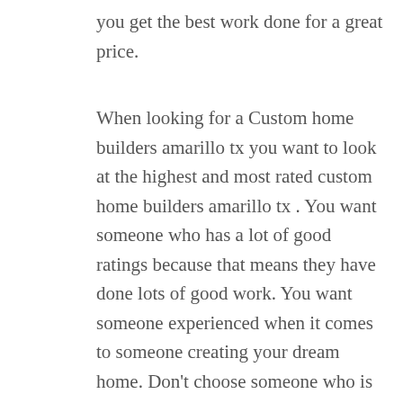you get the best work done for a great price.
When looking for a Custom home builders amarillo tx you want to look at the highest and most rated custom home builders amarillo tx . You want someone who has a lot of good ratings because that means they have done lots of good work. You want someone experienced when it comes to someone creating your dream home. Don't choose someone who is going to cut corners or hide any information from you to keep the price from you till the end.  Be sure to check out the company's website and see what all they may have online. You want to see the Custom home